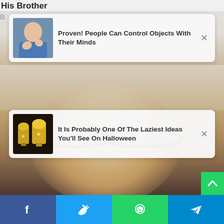His Brother
[Figure (screenshot): Ad card 1: thumbnail of person in blue denim jacket with text 'Proven! People Can Control Objects With Their Minds' and X close button]
[Figure (screenshot): Ad card 2: thumbnail of golden trophies with text 'It Is Probably One Of The Laziest Ideas You'll See On Halloween' and X close button]
[Figure (photo): Background photo of a blonde woman wearing black-rimmed glasses and a black jacket]
[Figure (infographic): Bottom social share bar with Facebook, Twitter, WhatsApp, and Telegram buttons]